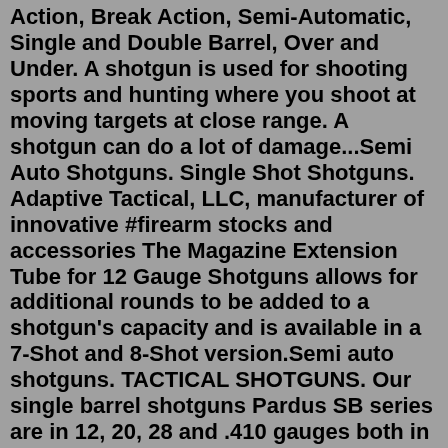Action, Break Action, Semi-Automatic, Single and Double Barrel, Over and Under. A shotgun is used for shooting sports and hunting where you shoot at moving targets at close range. A shotgun can do a lot of damage...Semi Auto Shotguns. Single Shot Shotguns. Adaptive Tactical, LLC, manufacturer of innovative #firearm stocks and accessories The Magazine Extension Tube for 12 Gauge Shotguns allows for additional rounds to be added to a shotgun's capacity and is available in a 7-Shot and 8-Shot version.Semi auto shotguns. TACTICAL SHOTGUNS. Our single barrel shotguns Pardus SB series are in 12, 20, 28 and .410 gauges both in external and internal hammer.Barrel 5-ROUNDS garaysar MKA1923 semi-automatic shotgun 12 ga 20? BARREL 6 RDS WITH BEAD SIGHT BLUEMOSSBERG 590 SHOCKWAVE BLUED 20 GA 14-INCH BARREL 6 ROUNDS MOSSBERG 590A1 Vihtavuori N560 Smokeless Gun Powder.Rati....shotgun, please! "The Benelli SuperNova Pump Shotgun is a strong, lightweight 12-